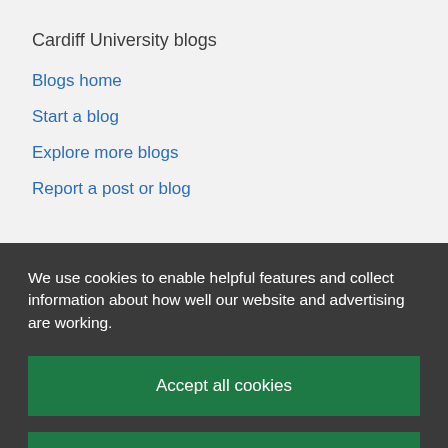Cardiff University blogs
Blogs home
Start a blog
Explore more blogs
Report a post or blog
We use cookies to enable helpful features and collect information about how well our website and advertising are working.
Accept all cookies
Manage your cookie preferences